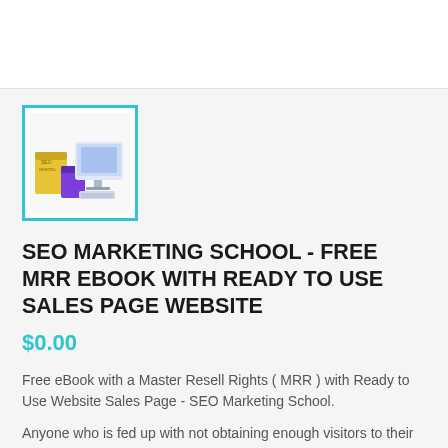[Figure (illustration): Product image showing SEO Marketing School package with book boxes and monitor, displayed inside a teal/cyan border frame]
SEO MARKETING SCHOOL - FREE MRR EBOOK WITH READY TO USE SALES PAGE WEBSITE
$0.00
Free eBook with a Master Resell Rights ( MRR ) with Ready to Use Website Sales Page - SEO Marketing School.
Anyone who is fed up with not obtaining enough visitors to their website. How to Get Endless FREE High-Qualit…